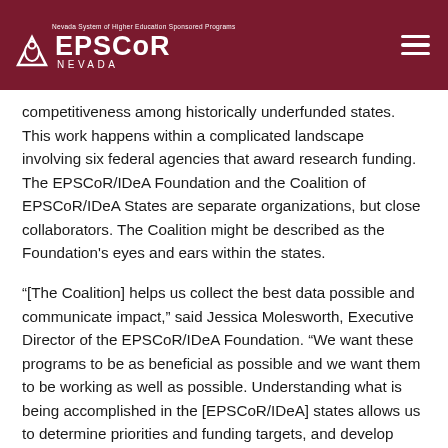Nevada System of Higher Education Sponsored Programs — EPSCoR Nevada
competitiveness among historically underfunded states. This work happens within a complicated landscape involving six federal agencies that award research funding. The EPSCoR/IDeA Foundation and the Coalition of EPSCoR/IDeA States are separate organizations, but close collaborators. The Coalition might be described as the Foundation's eyes and ears within the states.
“[The Coalition] helps us collect the best data possible and communicate impact,” said Jessica Molesworth, Executive Director of the EPSCoR/IDeA Foundation. “We want these programs to be as beneficial as possible and we want them to be working as well as possible. Understanding what is being accomplished in the [EPSCoR/IDeA] states allows us to determine priorities and funding targets, and develop effective, consistent promotion. The EPSCoR/IDeA Coalition Board of Directors also plays a key role in Michael Senton… April Moles… th